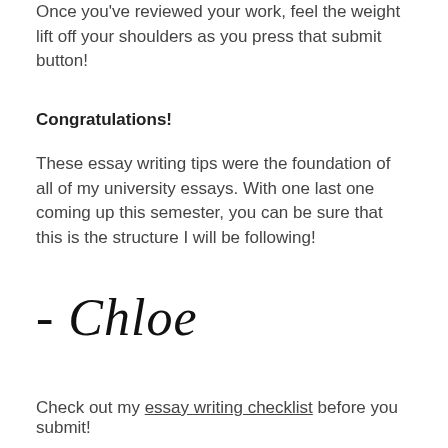Once you've reviewed your work, feel the weight lift off your shoulders as you press that submit button!
Congratulations!
These essay writing tips were the foundation of all of my university essays. With one last one coming up this semester, you can be sure that this is the structure I will be following!
[Figure (illustration): Handwritten cursive signature reading '- Chloe']
Check out my essay writing checklist before you submit!